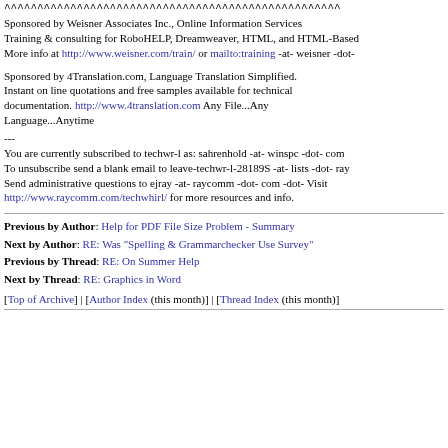^^^^^^^^^^^^^^^^^^^^^^^^^^^^^^^^^^^^^^^^^^^^^^^^^^^
Sponsored by Weisner Associates Inc., Online Information Services Training & consulting for RoboHELP, Dreamweaver, HTML, and HTML-Based More info at http://www.weisner.com/train/ or mailto:training -at- weisner -dot-
Sponsored by 4Translation.com, Language Translation Simplified. Instant on line quotations and free samples available for technical documentation. http://www.4translation.com Any File...Any Language...Anytime
---
You are currently subscribed to techwr-l as: sahrenhold -at- winspc -dot- com To unsubscribe send a blank email to leave-techwr-l-28189S -at- lists -dot- ray Send administrative questions to ejray -at- raycomm -dot- com -dot- Visit http://www.raycomm.com/techwhirl/ for more resources and info.
Previous by Author: Help for PDF File Size Problem - Summary
Next by Author: RE: Was "Spelling & Grammarchecker Use Survey"
Previous by Thread: RE: On Summer Help
Next by Thread: RE: Graphics in Word
[Top of Archive] | [Author Index (this month)] | [Thread Index (this month)]